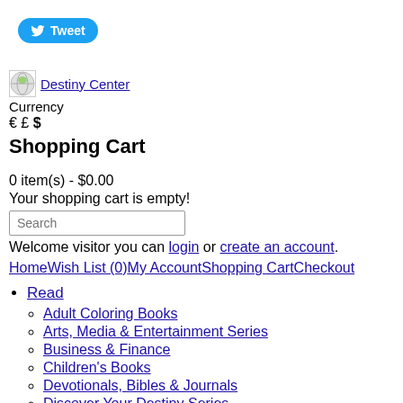[Figure (other): Twitter Tweet button with bird icon in blue rounded rectangle]
[Figure (logo): Destiny Center logo image (small globe-like icon) with link text 'Destiny Center']
Currency
€ £ $
Shopping Cart
0 item(s) - $0.00
Your shopping cart is empty!
Search (input box)
Welcome visitor you can login or create an account.
Home Wish List (0) My Account Shopping Cart Checkout
Read
Adult Coloring Books
Arts, Media & Entertainment Series
Business & Finance
Children's Books
Devotionals, Bibles & Journals
Discover Your Destiny Series